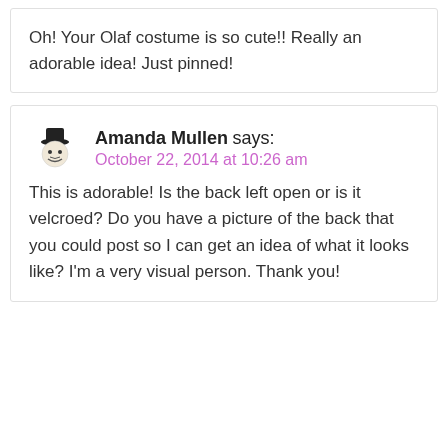Oh! Your Olaf costume is so cute!! Really an adorable idea! Just pinned!
Amanda Mullen says: October 22, 2014 at 10:26 am
This is adorable! Is the back left open or is it velcroed? Do you have a picture of the back that you could post so I can get an idea of what it looks like? I'm a very visual person. Thank you!